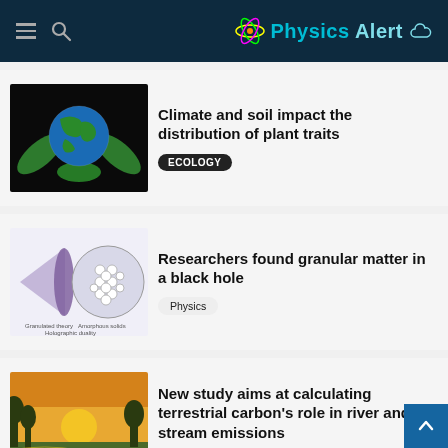Physics Alert
Climate and soil impact the distribution of plant traits
ECOLOGY
Researchers found granular matter in a black hole
Physics
New study aims at calculating terrestrial carbon's role in river and stream emissions
Earth
Dragonflies right themselves